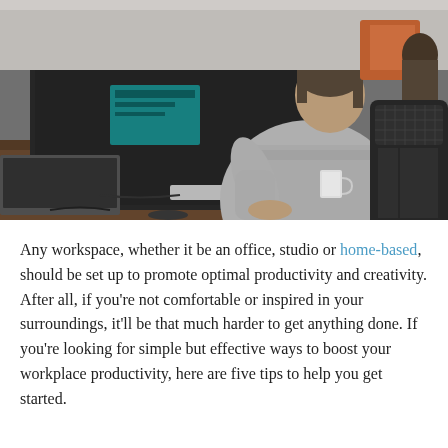[Figure (photo): A person in a gray sweater sitting at a desk, viewed from behind, working at a large iMac computer monitor in an office environment. Other workstations and colleagues are visible in the blurred background.]
Any workspace, whether it be an office, studio or home-based, should be set up to promote optimal productivity and creativity. After all, if you're not comfortable or inspired in your surroundings, it'll be that much harder to get anything done. If you're looking for simple but effective ways to boost your workplace productivity, here are five tips to help you get started.